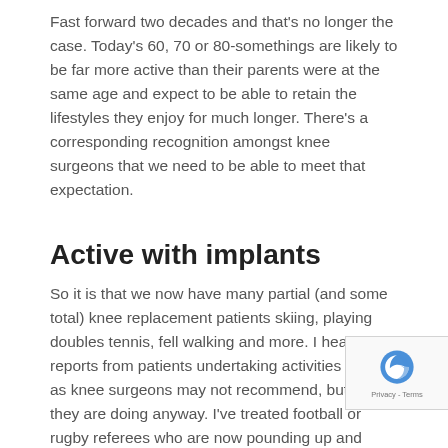Fast forward two decades and that's no longer the case. Today's 60, 70 or 80-somethings are likely to be far more active than their parents were at the same age and expect to be able to retain the lifestyles they enjoy for much longer. There's a corresponding recognition amongst knee surgeons that we need to be able to meet that expectation.
Active with implants
So it is that we now have many partial (and some total) knee replacement patients skiing, playing doubles tennis, fell walking and more. I hear reports from patients undertaking activities that we as knee surgeons may not recommend, but which they are doing anyway. I've treated football or rugby referees who are now pounding up and down their respective pitches every week. Extreme skiers are attempting some off-piste stuff that we as surgeons...